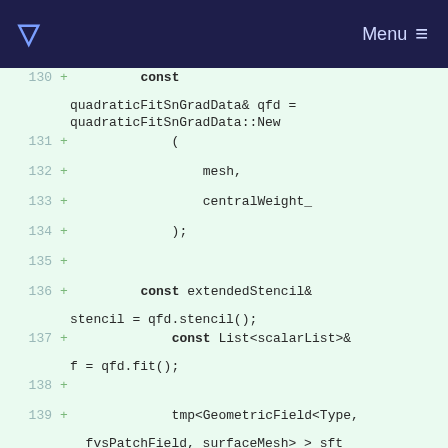Menu
130 + const quadraticFitSnGradData& qfd = quadraticFitSnGradData::New
131 + (
132 + mesh,
133 + centralWeight_
134 + );
135 +
136 + const extendedStencil& stencil = qfd.stencil();
137 + const List<scalarList>& f = qfd.fit();
138 +
139 + tmp<GeometricField<Type, fvsPatchField, surfaceMesh> > sft
140 + = stencil.weightedSum(vf, f);
141 +
142 + sft().dimensions() /= dimLength;